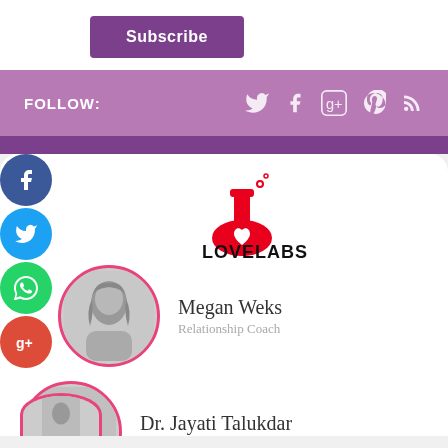Subscribe
FOLLOW:
[Figure (logo): LoveLabs logo — red flask with heart, bold text LOVELABS]
Megan Weks
Relationship Coach
[Figure (photo): Circular portrait photo of Megan Weks, black and white]
Dr. Jayati Talukdar
Health and Wellness Guru
[Figure (photo): Circular portrait photo of Dr. Jayati Talukdar, black and white]